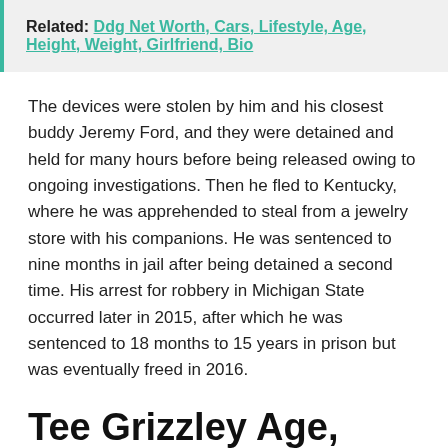Related: Ddg Net Worth, Cars, Lifestyle, Age, Height, Weight, Girlfriend, Bio
The devices were stolen by him and his closest buddy Jeremy Ford, and they were detained and held for many hours before being released owing to ongoing investigations. Then he fled to Kentucky, where he was apprehended to steal from a jewelry store with his companions. He was sentenced to nine months in jail after being detained a second time. His arrest for robbery in Michigan State occurred later in 2015, after which he was sentenced to 18 months to 15 years in prison but was eventually freed in 2016.
Tee Grizzley Age, Height, Weight & Body Measurement